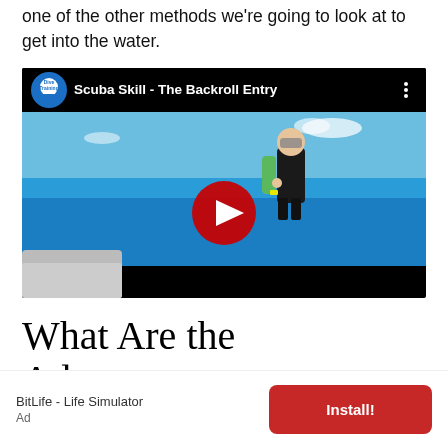one of the other methods we're going to look at to get into the water.
[Figure (screenshot): Embedded YouTube video thumbnail showing a scuba diver on a boat with the title 'Scuba Skill - The Backroll Entry' and a red play button overlay. Channel logo shows 'Dive Training'.]
What Are the Advantages
BitLife - Life Simulator
Ad
Install!